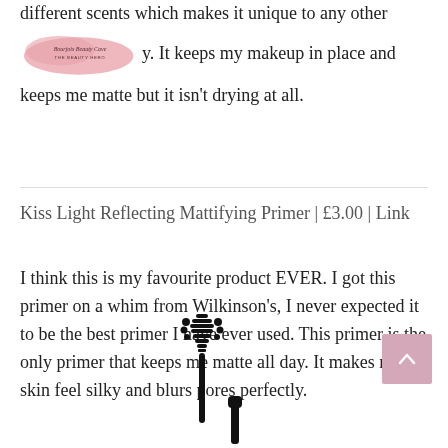different scents which makes it unique to any other [logo] y. It keeps my makeup in place and keeps me matte but it isn't drying at all.
Kiss Light Reflecting Mattifying Primer | £3.00 | Link
I think this is my favourite product EVER. I got this primer on a whim from Wilkinson's, I never expected it to be the best primer I have ever used. This primer is the only primer that keeps me matte all day. It makes my skin feel silky and blurs pores perfectly.
[Figure (illustration): Mascara wand/brush silhouette in black at the bottom of the page]
[Figure (other): Scroll-to-top button, mauve/pink square with upward chevron, bottom right corner]